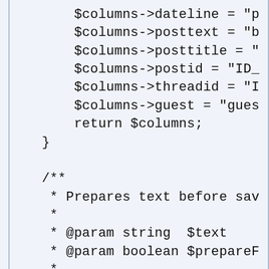$columns->dateline = "p
        $columns->posttext = "b
        $columns->posttitle = "
        $columns->postid = "ID_
        $columns->threadid = "I
        $columns->guest = "gues
        return $columns;
    }

    /**
     * Prepares text before sav
     *
     * @param string  $text
     * @param boolean $prepareF
     *
     * @return string Modified
     */
    function prepareText($text,
    {
        static $bbcode;
        if ($prepareForJoomla =